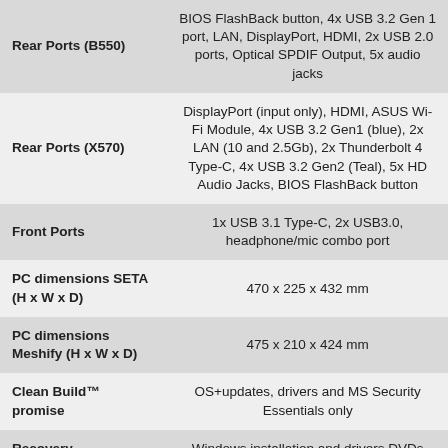| Feature | Details |
| --- | --- |
| Rear Ports (B550) | BIOS FlashBack button, 4x USB 3.2 Gen 1 port, LAN, DisplayPort, HDMI, 2x USB 2.0 ports, Optical SPDIF Output, 5x audio jacks |
| Rear Ports (X570) | DisplayPort (input only), HDMI, ASUS Wi-Fi Module, 4x USB 3.2 Gen1 (blue), 2x LAN (10 and 2.5Gb), 2x Thunderbolt 4 Type-C, 4x USB 3.2 Gen2 (Teal), 5x HD Audio Jacks, BIOS FlashBack button |
| Front Ports | 1x USB 3.1 Type-C, 2x USB3.0, headphone/mic combo port |
| PC dimensions SETA (H x W x D) | 470 x 225 x 432 mm |
| PC dimensions Meshify (H x W x D) | 475 x 210 x 424 mm |
| Clean Build™ promise | OS+updates, drivers and MS Security Essentials only |
| Recovery | Windows installation and drivers DVDs |